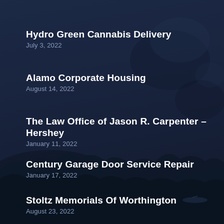Hydro Green Cannabis Delivery
July 3, 2022
Alamo Corporate Housing
August 14, 2022
The Law Office of Jason R. Carpenter – Hershey
January 11, 2022
Century Garage Door Service Repair
January 17, 2022
Stoltz Memorials Of Worthington
August 23, 2022